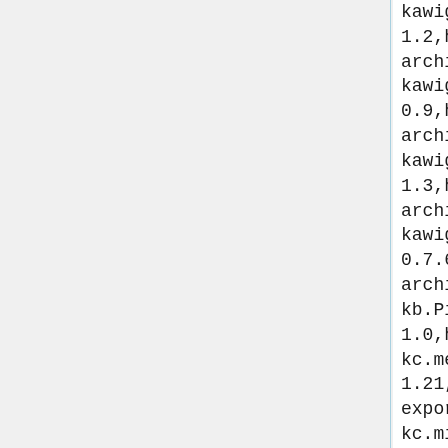kawigi.sbf.FloodNano
1.2,http://robocode-archive.strangeautomata.com/rob
kawigi.sbf.FloodSonnet
0.9,http://robocode-archive.strangeautomata.com/rob
kawigi.sbf.Teancum
1.3,http://robocode-archive.strangeautomata.com/rob
kawigi.spare.SpareParts
0.7.6nosnd,http://robocode-archive.strangeautomata.com/rob
kb.PingPong
1.0,http://www.griessersoftware
kc.mega.BeepBoop
1.21,https://drive.google.com/u
export=download&id=1PTF6dVV4s2z
kc.micro.Needle
0.101,http://robocode-archive.strangeautomata.com/rob
kc.micro.rammer.MaxRisk
0.6,http://robocode-archive.strangeautomata.com/rob
kc.micro.Thorn
1.252,http://robocode-